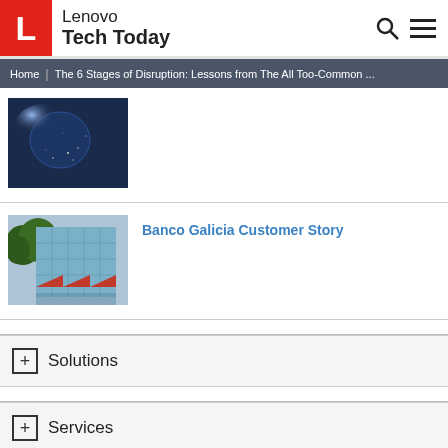Lenovo Tech Today
Home | The 6 Stages of Disruption: Lessons from The All Too-Common ...
[Figure (photo): Dark image of a globe or earth from space with lights]
[Figure (photo): Modern glass building with trees, Banco Galicia]
Banco Galicia Customer Story
+ Solutions
+ Services
+ Products